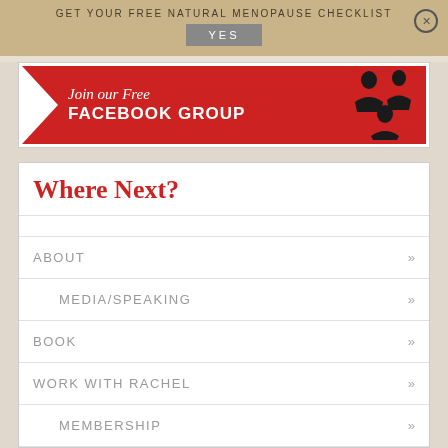GET YOUR FREE NATURAL MENOPAUSE CHECKLIST
YES
[Figure (illustration): Red banner with white arrow chevron on left, text 'Join our Free FACEBOOK GROUP' in white, and three black silhouette people icons on the right]
Where Next?
ABOUT
MEDIA/SPEAKING
BOOK
WORK WITH RACHEL
MEMBERSHIP